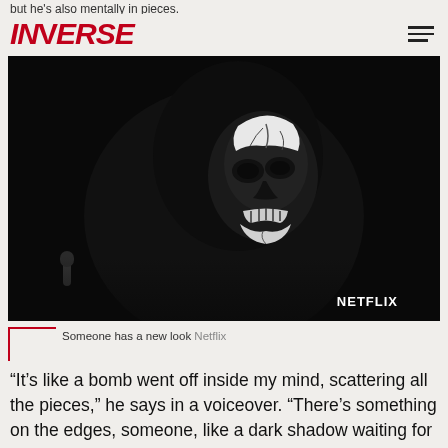but he's also mentally in pieces.
INVERSE
[Figure (photo): Black and white image of a figure wearing dark clothing and skull face makeup, with cracked white paint on the face. Netflix watermark in the lower right corner.]
Someone has a new look Netflix
“It’s like a bomb went off inside my mind, scattering all the pieces,” he says in a voiceover. “There’s something on the edges, someone, like a dark shadow waiting for